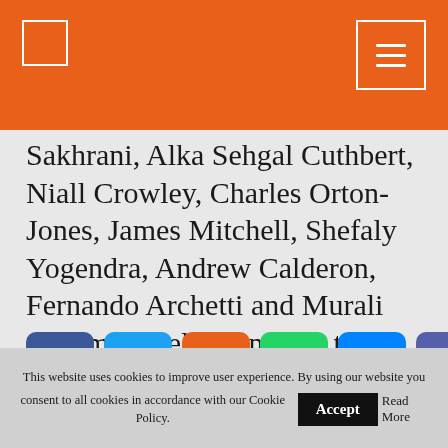Sakhrani, Alka Sehgal Cuthbert, Niall Crowley, Charles Orton-Jones, James Mitchell, Shefaly Yogendra, Andrew Calderon, Fernando Archetti and Murali Shanmugavelan (and our two pseudonyms) for curating newsletters.
[Figure (infographic): Social sharing icons row: Facebook, Twitter, Reddit, WhatsApp, Messenger, Email]
This website uses cookies to improve user experience. By using our website you consent to all cookies in accordance with our Cookie Policy. Accept Read More